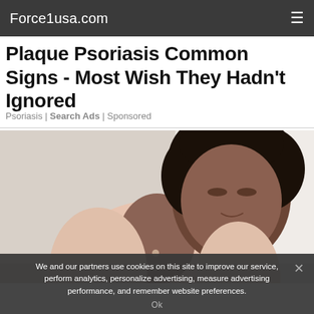Force1usa.com
Plaque Psoriasis Common Signs - Most Wish They Hadn't Ignored
Psoriasis | Search Ads | Sponsored
[Figure (photo): Woman in a peach/pink cardigan looking downward, photographed from the waist up against a light blurred background]
We and our partners use cookies on this site to improve our service, perform analytics, personalize advertising, measure advertising performance, and remember website preferences.
Ok